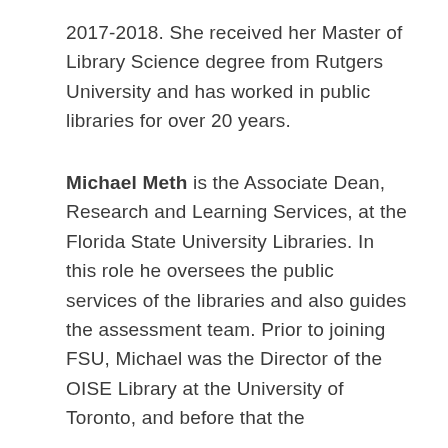2017-2018. She received her Master of Library Science degree from Rutgers University and has worked in public libraries for over 20 years.
Michael Meth is the Associate Dean, Research and Learning Services, at the Florida State University Libraries. In this role he oversees the public services of the libraries and also guides the assessment team. Prior to joining FSU, Michael was the Director of the OISE Library at the University of Toronto, and before that the